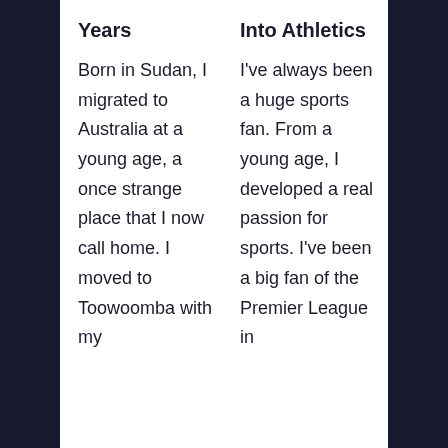Years
Born in Sudan, I migrated to Australia at a young age, a once strange place that I now call home. I moved to Toowoomba with my
Into Athletics
I've always been a huge sports fan. From a young age, I developed a real passion for sports. I've been a big fan of the Premier League in